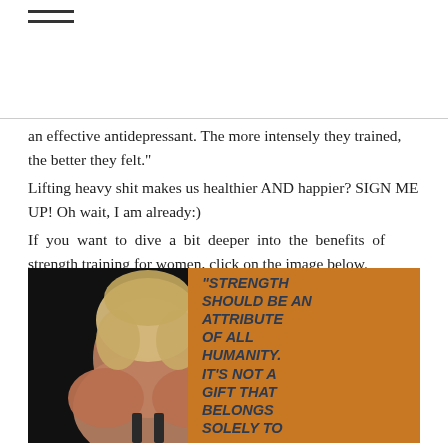≡ (hamburger menu icon)
an effective antidepressant. The more intensely they trained, the better they felt."
Lifting heavy shit makes us healthier AND happier? SIGN ME UP! Oh wait, I am already:)
If you want to dive a bit deeper into the benefits of strength training for women, click on the image below.
[Figure (photo): A woman seen from behind showing muscular back and shoulders wearing a dark tank top, with blonde hair, against a dark background. Overlaid with an orange panel containing a bold italic quote: "STRENGTH SHOULD BE AN ATTRIBUTE OF ALL HUMANITY. IT'S NOT A GIFT THAT BELONGS SOLELY TO"]